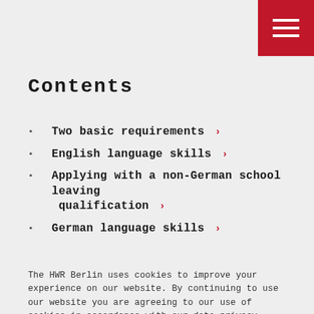[Figure (other): Red hamburger menu button in top-right corner with three white horizontal lines]
Contents
Two basic requirements >
English language skills >
Applying with a non-German school leaving qualification >
German language skills >
The HWR Berlin uses cookies to improve your experience on our website. By continuing to use our website you are agreeing to our use of cookies in accordance with our data privacy policy. Read more about our data privacy policy.
Accept